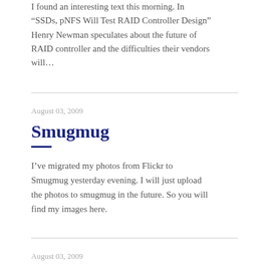I found an interesting text this morning. In “SSDs, pNFS Will Test RAID Controller Design” Henry Newman speculates about the future of RAID controller and the difficulties their vendors will…
August 03, 2009
Smugmug
I’ve migrated my photos from Flickr to Smugmug yesterday evening. I will just upload the photos to smugmug in the future. So you will find my images here.
August 03, 2009
Der Kampf der Frau von